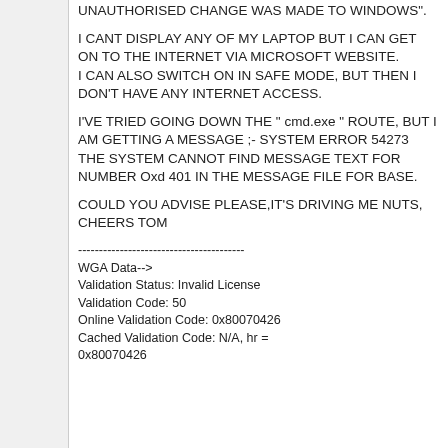UNAUTHORISED CHANGE WAS MADE TO WINDOWS".
I CANT DISPLAY ANY OF MY LAPTOP BUT I CAN GET ON TO THE INTERNET VIA MICROSOFT WEBSITE.
I CAN ALSO SWITCH ON IN SAFE MODE, BUT THEN I DON'T HAVE ANY INTERNET ACCESS.
I'VE TRIED GOING DOWN THE " cmd.exe " ROUTE, BUT I AM GETTING A MESSAGE ;- SYSTEM ERROR 54273  THE SYSTEM CANNOT FIND MESSAGE TEXT FOR NUMBER Oxd 401 IN THE MESSAGE FILE FOR BASE.
COULD YOU ADVISE PLEASE,IT'S DRIVING ME NUTS, CHEERS TOM
----------------------------------------
WGA Data-->
Validation Status: Invalid License
Validation Code: 50
Online Validation Code: 0x80070426
Cached Validation Code: N/A, hr =
0x80070426